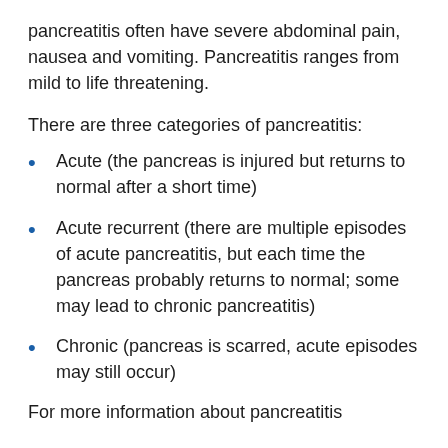pancreatitis often have severe abdominal pain, nausea and vomiting. Pancreatitis ranges from mild to life threatening.
There are three categories of pancreatitis:
Acute (the pancreas is injured but returns to normal after a short time)
Acute recurrent (there are multiple episodes of acute pancreatitis, but each time the pancreas probably returns to normal; some may lead to chronic pancreatitis)
Chronic (pancreas is scarred, acute episodes may still occur)
For more information about pancreatitis